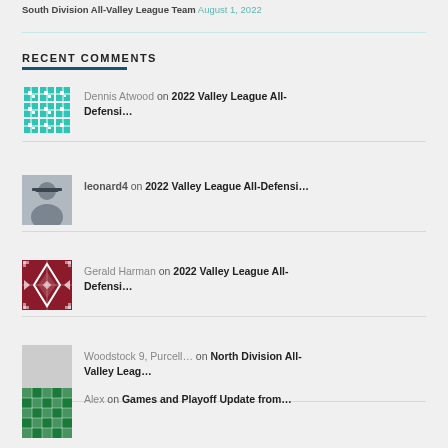South Division All-Valley League Team August 1, 2022
RECENT COMMENTS
Dennis Atwood on 2022 Valley League All-Defensi...
leonard4 on 2022 Valley League All-Defensi...
Gerald Harman on 2022 Valley League All-Defensi...
Woodstock 9, Purcell... on North Division All-Valley Leag...
Alex on Games and Playoff Update from...